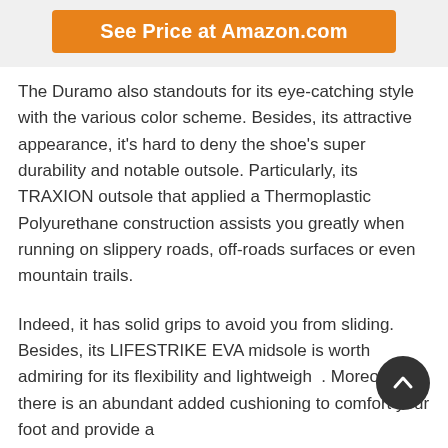[Figure (other): Orange 'See Price at Amazon.com' button on grey background]
The Duramo also standouts for its eye-catching style with the various color scheme. Besides, its attractive appearance, it's hard to deny the shoe's super durability and notable outsole. Particularly, its TRAXION outsole that applied a Thermoplastic Polyurethane construction assists you greatly when running on slippery roads, off-roads surfaces or even mountain trails.
Indeed, it has solid grips to avoid you from sliding. Besides, its LIFESTRIKE EVA midsole is worth admiring for its flexibility and lightweight. Moreover, there is an abundant added cushioning to comfort your foot and provide a